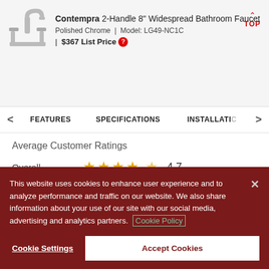[Figure (illustration): Faucet product image - Contempra 2-Handle 8 inch Widespread Bathroom Faucet in Polished Chrome]
Contempra 2-Handle 8" Widespread Bathroom Faucet
Polished Chrome | Model: LG49-NC1C
| $367 List Price
FEATURES | SPECIFICATIONS | INSTALLATION
Average Customer Ratings
Overall ★★★★★ 4.7
Quality of Product █████████████ 5.0
This website uses cookies to enhance user experience and to analyze performance and traffic on our website. We also share information about your use of our site with our social media, advertising and analytics partners. Cookie Policy
Cookie Settings
Accept Cookies